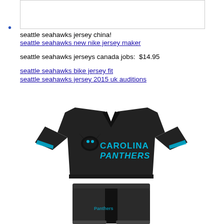[Figure (other): Blank white rectangle image placeholder at top of page]
seattle seahawks jersey china!
seattle seahawks new nike jersey maker

seattle seahawks jerseys canada jobs:  $14.95

seattle seahawks bike jersey fit
seattle seahawks jersey 2015 uk auditions
[Figure (photo): Carolina Panthers black children's jersey top and pants set with blue Carolina Panthers logo and text]